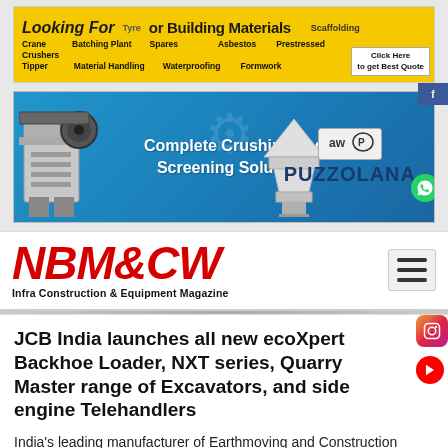[Figure (infographic): Yellow advertisement banner for construction equipment/building materials with text 'Looking For' and items like Crane, Crushers, Tipper, Batching Plant, Material Handling, Spares, Waterproofing, Scaffolding, Prestressed, Asbestos, Formwork with Click Here to get Best Quote button]
[Figure (infographic): Blue advertisement banner for Puzzolana featuring crushing equipment with text 'Complete Crushing and Screening Solutions' and PUZZOLANA brand logo]
[Figure (logo): NBM&CW Infra Construction & Equipment Magazine logo in red italic bold font with hamburger menu icon]
JCB India launches all new ecoXpert Backhoe Loader, NXT series, Quarry Master range of Excavators, and side engine Telehandlers
India's leading manufacturer of Earthmoving and Construction Equipment, JCB India, introduced a wide range of new, smart, technology-driven machines with a